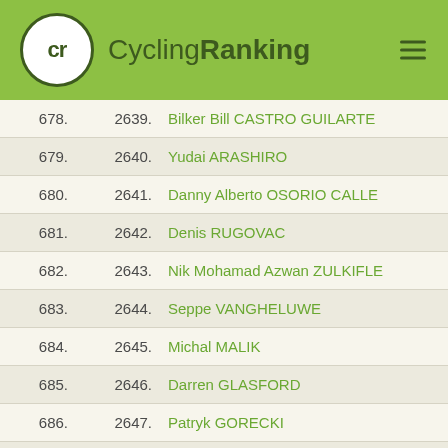cr CyclingRanking
| Rank | ID | Name | Points |
| --- | --- | --- | --- |
| 678. | 2639. | Bilker Bill CASTRO GUILARTE |  |
| 679. | 2640. | Yudai ARASHIRO |  |
| 680. | 2641. | Danny Alberto OSORIO CALLE |  |
| 681. | 2642. | Denis RUGOVAC |  |
| 682. | 2643. | Nik Mohamad Azwan ZULKIFLE |  |
| 683. | 2644. | Seppe VANGHELUWE |  |
| 684. | 2645. | Michal MALIK |  |
| 685. | 2646. | Darren GLASFORD |  |
| 686. | 2647. | Patryk GORECKI |  |
| 687. | 2648. | David WATSON |  |
| 688. | 2649. | Quoc Cuong PHAM |  |